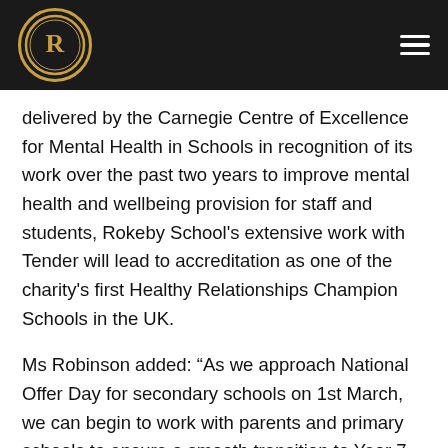Rokeby School header with logo and navigation menu
delivered by the Carnegie Centre of Excellence for Mental Health in Schools in recognition of its work over the past two years to improve mental health and wellbeing provision for staff and students, Rokeby School's extensive work with Tender will lead to accreditation as one of the charity's first Healthy Relationships Champion Schools in the UK.
Ms Robinson added: “As we approach National Offer Day for secondary schools on 1st March, we can begin to work with parents and primary schools to ensure a smooth transition to Year 7 and a positive school experience where they feel valued, supported and able to share concerns as they arise. Our transition programme includes sports tournaments led by our Year 10 Sports Leaders and an induction day in the